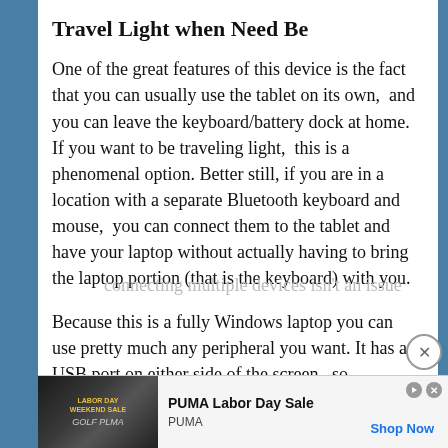Travel Light when Need Be
One of the great features of this device is the fact that you can usually use the tablet on its own,  and you can leave the keyboard/battery dock at home. If you want to be traveling light,  this is a phenomenal option. Better still, if you are in a location with a separate Bluetooth keyboard and mouse,  you can connect them to the tablet and have your laptop without actually having to bring the laptop portion (that is the keyboard) with you.
Because this is a fully Windows laptop you can use pretty much any peripheral you want. It has a USB port on either side of the screen,  so connecting multiple devices isn't an issue...
[Figure (other): Advertisement banner for PUMA Labor Day Sale with an image of an athlete, Ad label, play and close icons, and 'Shop Now' link]